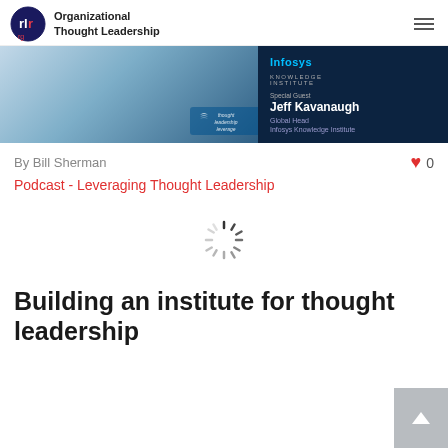Organizational Thought Leadership
[Figure (screenshot): Hero image showing a podcast guest (man in suit) on the left with a teal/blue background and 'thought leadership leverage' watermark, and an Infosys Knowledge Institute panel on the right featuring Special Guest Jeff Kavanaugh, Global Head, Infosys Knowledge Institute]
By Bill Sherman
0
Podcast - Leveraging Thought Leadership
[Figure (other): Loading spinner icon (circular dashed/striped spinner)]
Building an institute for thought leadership